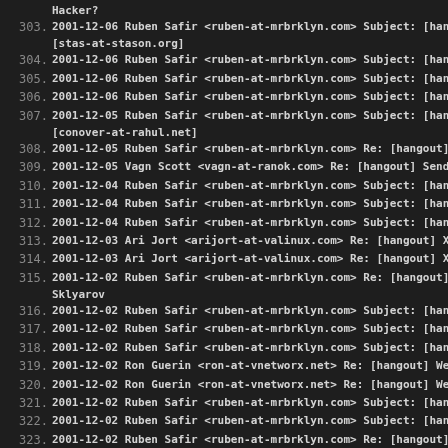Hacker?
303. 2001-12-06 Ruben Safir <ruben-at-mrbrklyn.com> Subject: [hangout] [stas-at-stason.org]
304. 2001-12-06 Ruben Safir <ruben-at-mrbrklyn.com> Subject: [hangout]
305. 2001-12-06 Ruben Safir <ruben-at-mrbrklyn.com> Subject: [hangout]
306. 2001-12-06 Ruben Safir <ruben-at-mrbrklyn.com> Subject: [hangout]
307. 2001-12-05 Ruben Safir <ruben-at-mrbrklyn.com> Subject: [hangout] [conover-at-rahul.net]
308. 2001-12-05 Ruben Safir <ruben-at-mrbrklyn.com> Re: [hangout] Sen
309. 2001-12-05 Vagn Scott <vagn-at-ranok.com> Re: [hangout] Sendmai
310. 2001-12-04 Ruben Safir <ruben-at-mrbrklyn.com> Subject: [hangout]
311. 2001-12-04 Ruben Safir <ruben-at-mrbrklyn.com> Subject: [hangout]
312. 2001-12-04 Ruben Safir <ruben-at-mrbrklyn.com> Subject: [hangout]
313. 2001-12-03 Ari Jort <arijort-at-valinux.com> Re: [hangout] X Server C
314. 2001-12-03 Ari Jort <arijort-at-valinux.com> Re: [hangout] X Server C
315. 2001-12-02 Ruben Safir <ruben-at-mrbrklyn.com> Re: [hangout] New Sklyarov
316. 2001-12-02 Ruben Safir <ruben-at-mrbrklyn.com> Subject: [hangout]
317. 2001-12-02 Ruben Safir <ruben-at-mrbrklyn.com> Subject: [hangout]
318. 2001-12-02 Ruben Safir <ruben-at-mrbrklyn.com> Subject: [hangout]
319. 2001-12-02 Ron Guerin <ron-at-vnetworx.net> Re: [hangout] WebSite
320. 2001-12-02 Ron Guerin <ron-at-vnetworx.net> Re: [hangout] WebSite
321. 2001-12-02 Ruben Safir <ruben-at-mrbrklyn.com> Subject: [hangout]
322. 2001-12-02 Ruben Safir <ruben-at-mrbrklyn.com> Subject: [hangout]
323. 2001-12-02 Ruben Safir <ruben-at-mrbrklyn.com> Re: [hangout] Apo
324. 2001-12-02 Jay Sulzberger <jays-at-panix.com> Re: [hangout] Apo